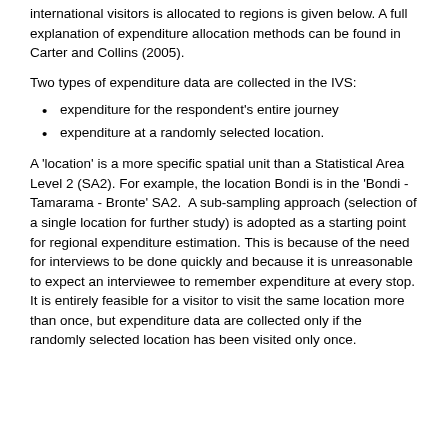international visitors is allocated to regions is given below. A full explanation of expenditure allocation methods can be found in Carter and Collins (2005).
Two types of expenditure data are collected in the IVS:
expenditure for the respondent's entire journey
expenditure at a randomly selected location.
A 'location' is a more specific spatial unit than a Statistical Area Level 2 (SA2). For example, the location Bondi is in the 'Bondi - Tamarama - Bronte' SA2.  A sub-sampling approach (selection of a single location for further study) is adopted as a starting point for regional expenditure estimation. This is because of the need for interviews to be done quickly and because it is unreasonable to expect an interviewee to remember expenditure at every stop. It is entirely feasible for a visitor to visit the same location more than once, but expenditure data are collected only if the randomly selected location has been visited only once.